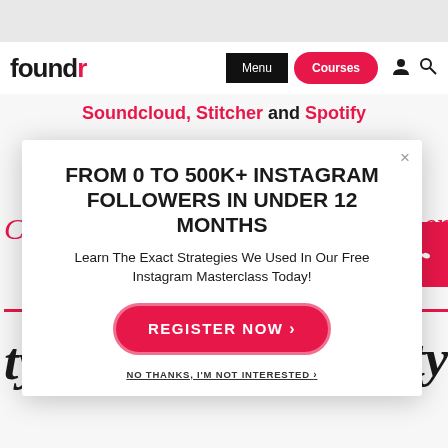[Figure (screenshot): Foundr website screenshot showing navigation bar with logo, Menu button, Courses button, and icons]
Soundcloud, Stitcher and Spotify
[Figure (screenshot): Modal popup overlay on foundr website with headline, subtitle, register button, and no thanks link]
FROM 0 TO 500K+ INSTAGRAM FOLLOWERS IN UNDER 12 MONTHS
Learn The Exact Strategies We Used In Our Free Instagram Masterclass Today!
REGISTER NOW >
NO THANKS, I'M NOT INTERESTED >